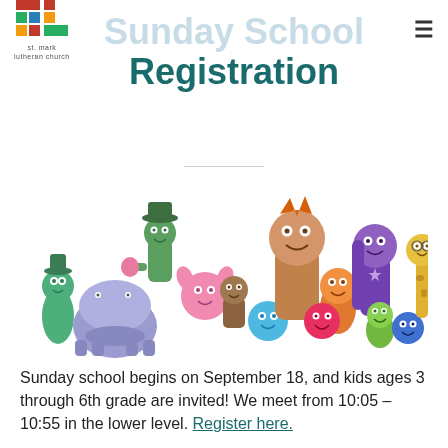st. mark lutheran church logo and navigation
Sunday School Registration
[Figure (illustration): Colorful cartoon characters — a group of friendly animal and geometric-shaped kids characters lined up, representing Sunday school children of various sizes and colors including green, pink, orange, purple, blue, and yellow figures.]
Sunday school begins on September 18, and kids ages 3 through 6th grade are invited! We meet from 10:05 – 10:55 in the lower level. Register here.